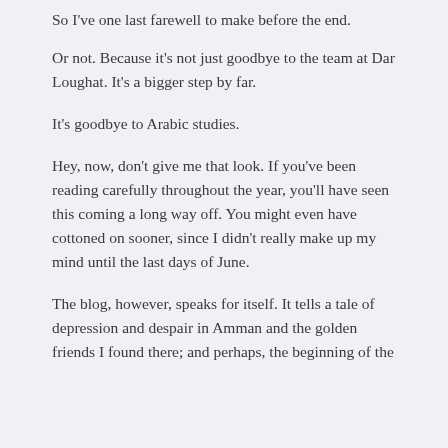So I've one last farewell to make before the end.
Or not. Because it's not just goodbye to the team at Dar Loughat. It's a bigger step by far.
It's goodbye to Arabic studies.
Hey, now, don't give me that look. If you've been reading carefully throughout the year, you'll have seen this coming a long way off. You might even have cottoned on sooner, since I didn't really make up my mind until the last days of June.
The blog, however, speaks for itself. It tells a tale of depression and despair in Amman and the golden friends I found there; and perhaps, the beginning of the